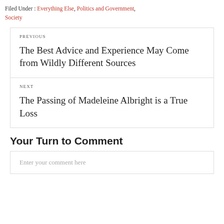Filed Under : Everything Else, Politics and Government, Society
Previous
The Best Advice and Experience May Come from Wildly Different Sources
Next
The Passing of Madeleine Albright is a True Loss
Your Turn to Comment
Enter your comment here